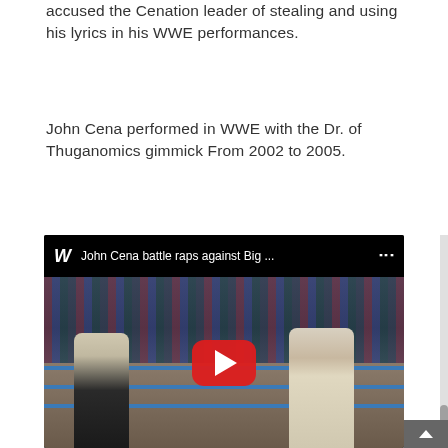accused the Cenation leader of stealing and using his lyrics in his WWE performances.
John Cena performed in WWE with the Dr. of Thuganomics gimmick From 2002 to 2005.
[Figure (screenshot): Embedded YouTube video thumbnail showing two wrestlers in a WWE ring performing a battle rap segment. The video title reads 'John Cena battle raps against Big ...' with the WWE logo.]